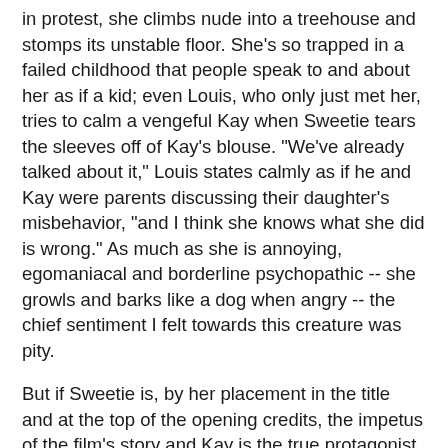in protest, she climbs nude into a treehouse and stomps its unstable floor. She's so trapped in a failed childhood that people speak to and about her as if a kid; even Louis, who only just met her, tries to calm a vengeful Kay when Sweetie tears the sleeves off of Kay's blouse. "We've already talked about it," Louis states calmly as if he and Kay were parents discussing their daughter's misbehavior, "and I think she knows what she did is wrong." As much as she is annoying, egomaniacal and borderline psychopathic -- she growls and barks like a dog when angry -- the chief sentiment I felt towards this creature was pity.
But if Sweetie is, by her placement in the title and at the top of the opening credits, the impetus of the film's story and Kay is the true protagonist, then Gordon is the key to unlocking all of this. Clearly he still believes in Dawn, and the scene where he jubilantly encourages Dawn to show off her "chair trick" -- involving her simply standing on a chair, tipping it forward and "riding" it down without falling -- is a moment of pitch-black comedy and a subtle level of psychological horror. The sheer banality of it is funny, as Louis cannot even pretend to care about it and walks away bored. Yet the way the Gordon watches his daughter perform her childlit...